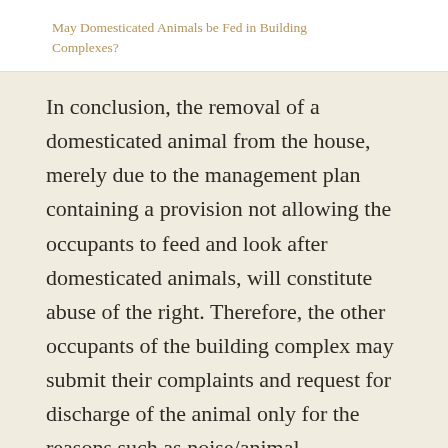May Domesticated Animals be Fed in Building Complexes?
In conclusion, the removal of a domesticated animal from the house, merely due to the management plan containing a provision not allowing the occupants to feed and look after domesticated animals, will constitute abuse of the right. Therefore, the other occupants of the building complex may submit their complaints and request for discharge of the animal only for the reasons such as noise/animal smell/safety/environmental cleaning, in other words, only if the other occupants have a legal benefit in this regard, in order for a domesticated animal to be